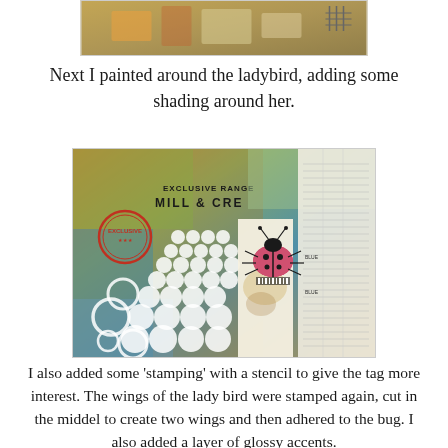[Figure (photo): Partial photo of a craft/art journal page visible at the top of the page, showing a warm-toned mixed media composition.]
Next I painted around the ladybird, adding some shading around her.
[Figure (photo): Photo of a mixed media art journal tag showing a ladybird (ladybug) with stamped circle stencil patterns, an 'EXCLUSIVE' stamp mark in red, layered papers including graph paper and printed text, and colorful painted background in oranges, greens, and blues.]
I also added some 'stamping' with a stencil to give the tag more interest. The wings of the lady bird were stamped again, cut in the middel to create two wings and then adhered to the bug. I also added a layer of glossy accents.